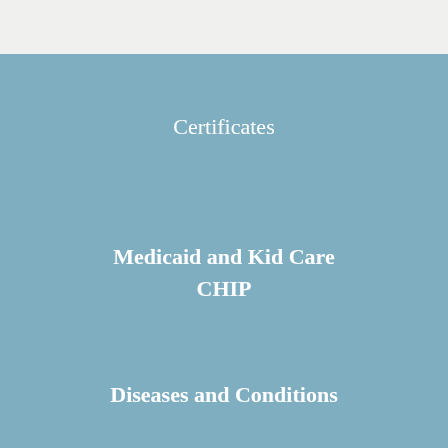Certificates
Medicaid and Kid Care
CHIP
Diseases and Conditions
WDH Healthcare Facilities